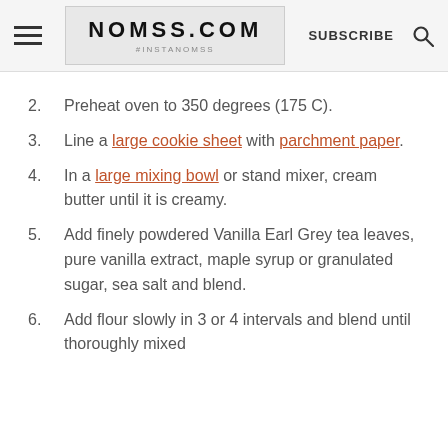NOMSS.COM #INSTANOMSS | SUBSCRIBE
2. Preheat oven to 350 degrees (175 C).
3. Line a large cookie sheet with parchment paper.
4. In a large mixing bowl or stand mixer, cream butter until it is creamy.
5. Add finely powdered Vanilla Earl Grey tea leaves, pure vanilla extract, maple syrup or granulated sugar, sea salt and blend.
6. Add flour slowly in 3 or 4 intervals and blend until thoroughly mixed